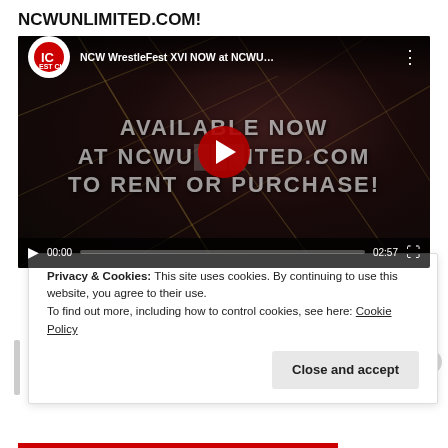NCWUNLIMITED.COM!
[Figure (screenshot): Embedded YouTube video player showing NCW WrestleFest XVI promotional video. Video thumbnail shows text 'AVAILABLE NOW AT NCWUNLIMITED.COM TO RENT OR PURCHASE!' with a YouTube play button overlay. Video title bar shows 'NCW WrestleFest XVI NOW at NCWU...' with a channel logo. Controls show 00:00 / 02:57 timecode and progress bar.]
Privacy & Cookies: This site uses cookies. By continuing to use this website, you agree to their use.
To find out more, including how to control cookies, see here: Cookie Policy
Close and accept